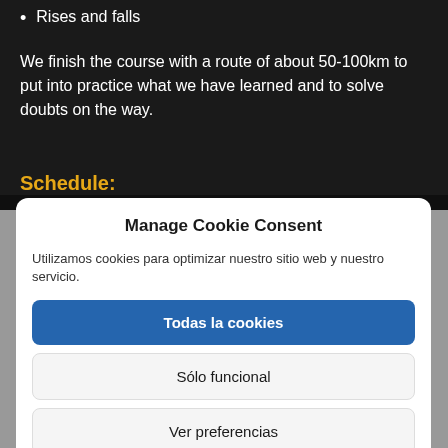Rises and falls
We finish the course with a route of about 50-100km to put into practice what we have learned and to solve doubts on the way.
Schedule:
Manage Cookie Consent
Utilizamos cookies para optimizar nuestro sitio web y nuestro servicio.
Todas la cookies
Sólo funcional
Ver preferencias